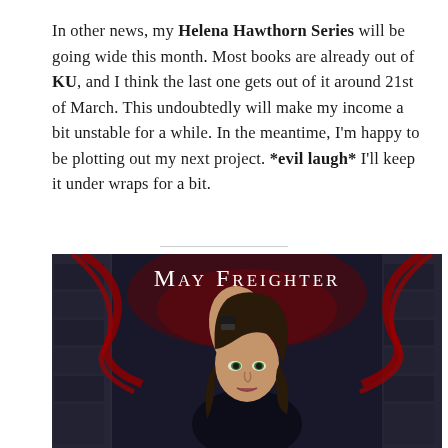In other news, my Helena Hawthorn Series will be going wide this month. Most books are already out of KU, and I think the last one gets out of it around 21st of March. This undoubtedly will make my income a bit unstable for a while. In the meantime, I'm happy to be plotting out my next project. *evil laugh* I'll keep it under wraps for a bit.
[Figure (photo): Book cover image with dark atmospheric background showing a woman with dark hair and green eyes in dark clothing, with red rope/whip elements and stone architecture. Text at top reads 'MAY FREIGHTER' in large serif font.]